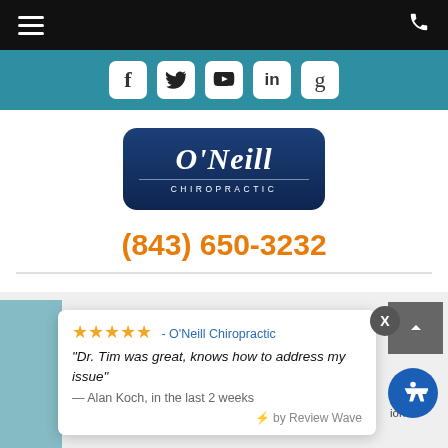Navigation bar with hamburger menu and phone icon
[Figure (illustration): Teal social media bar with icons for Facebook, Twitter, YouTube, LinkedIn, and Google+]
[Figure (logo): O'Neill Chiropractic logo — dark navy blue rounded rectangle with italic white text 'O'Neill' and 'CHIROPRACTIC' subtitle]
(843) 650-3232
★★★★★ - O'Neill Chiropractic
"Dr. Tim was great, knows how to address my issue"
— Alan Koch, in the last 2 weeks
⚡ by Review Wave